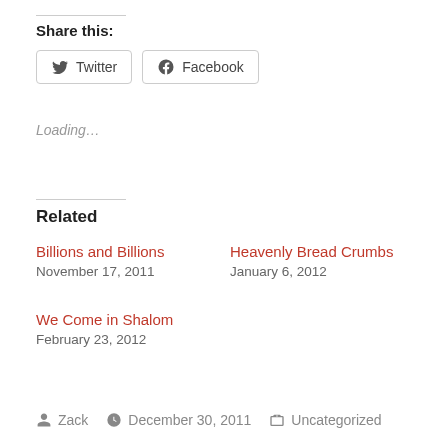Share this:
Twitter  Facebook
Loading...
Related
Billions and Billions
November 17, 2011
Heavenly Bread Crumbs
January 6, 2012
We Come in Shalom
February 23, 2012
Zack   December 30, 2011   Uncategorized